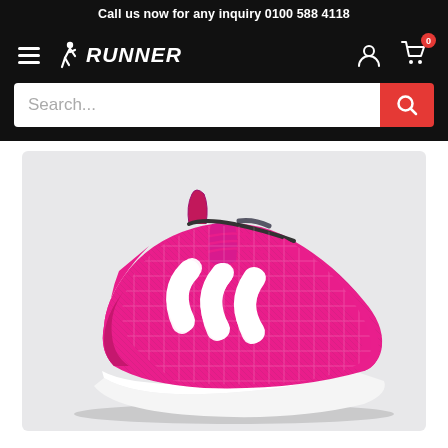Call us now for any inquiry 0100 588 4118
[Figure (logo): Runner sportswear logo with running figure icon and word RUNNER in bold italic white text on black background]
[Figure (screenshot): Search bar with placeholder text 'Search...' and a red search button with magnifying glass icon]
[Figure (photo): Pink Adidas running shoe (AltaRun) with white three-stripe logo, mesh upper, pink laces, and white sole, displayed on light grey background]